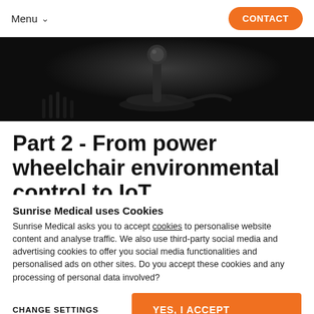Menu  CONTACT
[Figure (photo): Close-up black and white photo of a power wheelchair joystick control on dark background]
Part 2 - From power wheelchair environmental control to IoT
Sunrise Medical uses Cookies
Sunrise Medical asks you to accept cookies to personalise website content and analyse traffic. We also use third-party social media and advertising cookies to offer you social media functionalities and personalised ads on other sites. Do you accept these cookies and any processing of personal data involved?
CHANGE SETTINGS    YES, I ACCEPT
Keep Reading